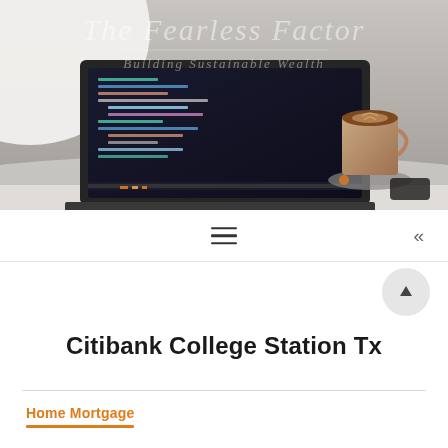[Figure (photo): Hero image of a laptop with code editor open, a coffee cup on a saucer, and a lamp, with 'The Fearless Factor - Building Sustainable Wealth' watermark text overlay]
The Fearless Factor — Building Sustainable Wealth
Citibank College Station Tx
Home Mortgage